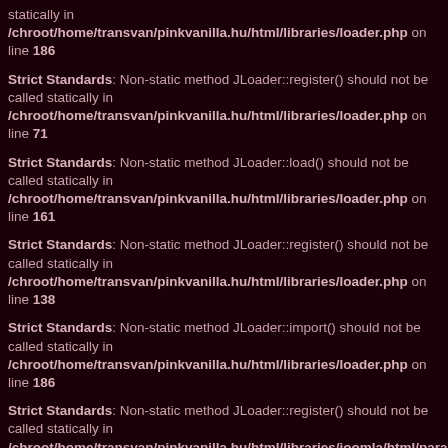statically in /chroot/home/transvan/pinkvanilla.hu/html/libraries/loader.php on line 186
Strict Standards: Non-static method JLoader::register() should not be called statically in /chroot/home/transvan/pinkvanilla.hu/html/libraries/loader.php on line 71
Strict Standards: Non-static method JLoader::load() should not be called statically in /chroot/home/transvan/pinkvanilla.hu/html/libraries/loader.php on line 161
Strict Standards: Non-static method JLoader::register() should not be called statically in /chroot/home/transvan/pinkvanilla.hu/html/libraries/loader.php on line 138
Strict Standards: Non-static method JLoader::import() should not be called statically in /chroot/home/transvan/pinkvanilla.hu/html/libraries/loader.php on line 186
Strict Standards: Non-static method JLoader::register() should not be called statically in /chroot/home/transvan/pinkvanilla.hu/html/libraries/joomla/html/parameter.php on line 21
Strict Standards: Non-static method JFactory::getUser() should not be called statically, assuming $this from incompatible context in /chroot/home/transvan/pinkvanilla.hu/html/includes/application.php on line 57
Strict Standards: Non-static method JLoader::import() should not be called